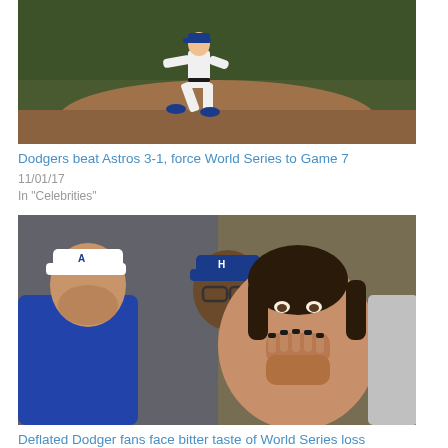[Figure (photo): Baseball pitcher in white Dodgers uniform mid-pitch on mound]
Dodgers beat Astros 3-1, force World Series to Game 7
11/01/17
In "Celebrities"
[Figure (photo): Dodger fans in blue caps looking dejected, woman with hands clasped to face]
Deflated Dodger fans face bitter taste of World Series loss
11/02/17